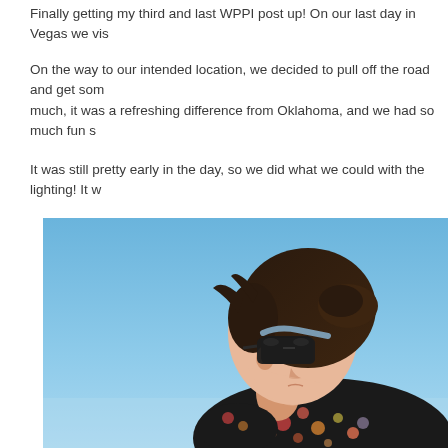Finally getting my third and last WPPI post up! On our last day in Vegas we vis
On the way to our intended location, we decided to pull off the road and get som much, it was a refreshing difference from Oklahoma, and we had so much fun s
It was still pretty early in the day, so we did what we could with the lighting! It w
[Figure (photo): A woman with dark hair in an updo wearing large black sunglasses and a dark floral dress, photographed from a low angle against a bright blue sky. She is looking downward and slightly to the right.]